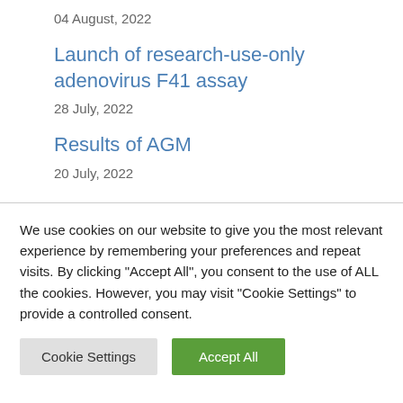04 August, 2022
Launch of research-use-only adenovirus F41 assay
28 July, 2022
Results of AGM
20 July, 2022
We use cookies on our website to give you the most relevant experience by remembering your preferences and repeat visits. By clicking "Accept All", you consent to the use of ALL the cookies. However, you may visit "Cookie Settings" to provide a controlled consent.